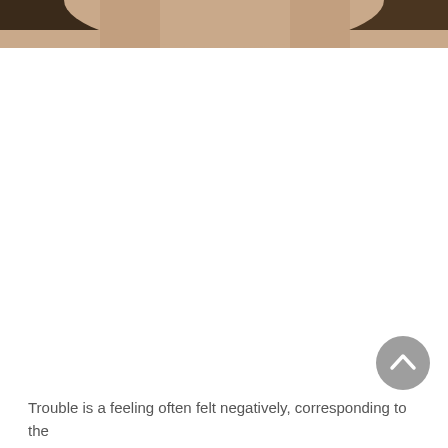[Figure (photo): Partial view of a person's face/head, cropped at the top of the page, showing the bottom of a circular portrait. The image is cut off at the top edge.]
[Figure (illustration): A circular gray button/icon with a white upward-pointing chevron (caret) arrow, positioned in the lower-right area of the page. This is a scroll-to-top UI button.]
Trouble is a feeling often felt negatively, corresponding to the